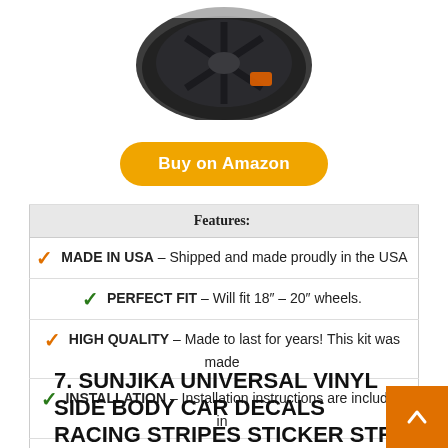[Figure (photo): Close-up photo of a black car wheel/rim with orange brake caliper visible behind it]
Buy on Amazon
| Features: |
| --- |
| ✓ MADE IN USA – Shipped and made proudly in the USA |
| ✓ PERFECT FIT – Will fit 18″ – 20″ wheels. |
| ✓ HIGH QUALITY – Made to last for years! This kit was made |
| ✓ INSTALLATION – Installation instructions are included in |
| ✓ GUARANTEE – 100% satisfaction guaranteed! If you are |
7. SUNJIKA UNIVERSAL VINYL SIDE BODY CAR DECALS RACING STRIPES STICKER STR GRAPHICS CAR SIDE DECALS FOR SUV C ROAD AUTO CAR BODY SIDE DOOR DECORATION RACING ACCESSORIES BLACK